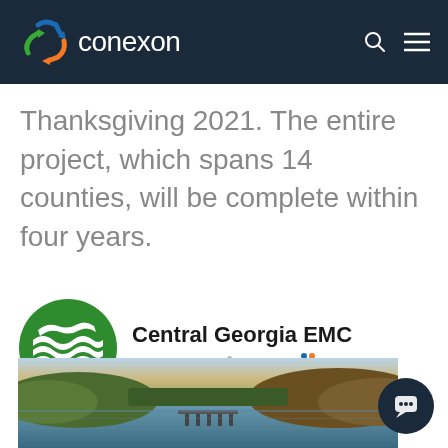conexon
Thanksgiving 2021. The entire project, which spans 14 counties, will be complete within four years.
[Figure (logo): Central Georgia EMC logo — green circle with white wave/field lines, text 'Central Georgia EMC' and 'A Touchstone Energy® Cooperative' with colorful figure icon]
[Figure (photo): Landscape photograph of a lake or river with a bridge/dock, surrounded by forested hills with autumn foliage, taken at dusk or dawn]